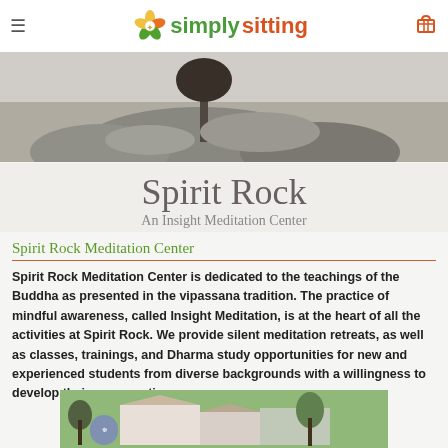simplysitting
[Figure (photo): Grayscale image of a rocky landscape with a tree]
Spirit Rock
An Insight Meditation Center
Spirit Rock Meditation Center
Spirit Rock Meditation Center is dedicated to the teachings of the Buddha as presented in the vipassana tradition. The practice of mindful awareness, called Insight Meditation, is at the heart of all the activities at Spirit Rock. We provide silent meditation retreats, as well as classes, trainings, and Dharma study opportunities for new and experienced students from diverse backgrounds with a willingness to develop their own practice.
[Figure (photo): Color photo of Spirit Rock Meditation Center entrance building and signage]